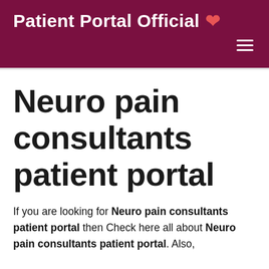Patient Portal Official ❤
Neuro pain consultants patient portal
If you are looking for Neuro pain consultants patient portal then Check here all about Neuro pain consultants patient portal. Also,